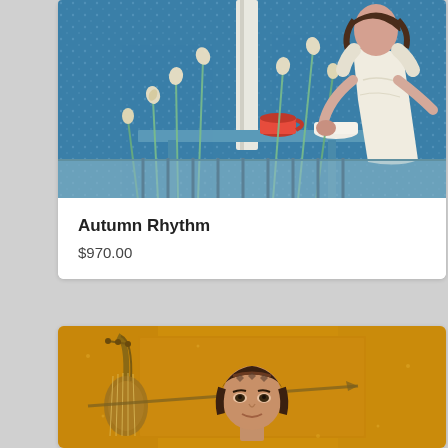[Figure (illustration): Painting of a woman in a white dress sitting at a table with a red cup, surrounded by blue background with white flowers]
Autumn Rhythm
$970.00
[Figure (illustration): Painting of a woman with dark hair against a golden/orange background, with what appears to be a lute or stringed instrument]